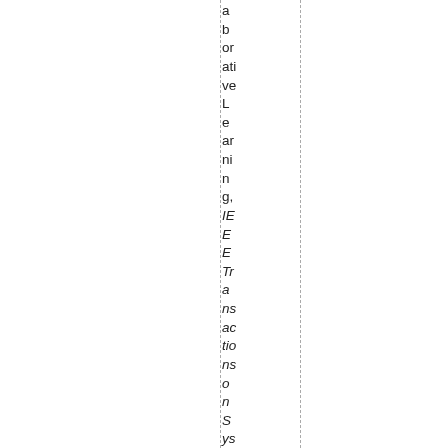a b or ati ve L e ar ni n g, IEEE Transactions on Systems, Man,